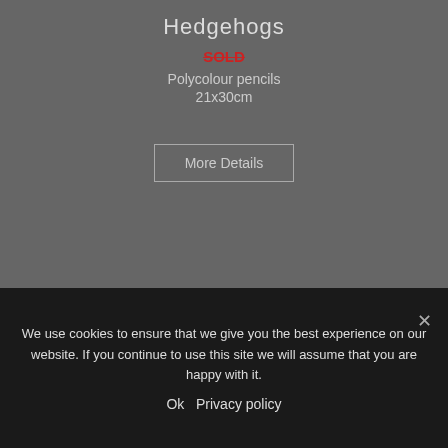Hedgehogs
SOLD
Polycolour pencils
21x30cm
More Details
[Figure (photo): A pheasant bird with colorful plumage — orange body, dark spotted feathers, green and blue head with red eye patch — shown from the side against a light grey background, in a black frame.]
We use cookies to ensure that we give you the best experience on our website. If you continue to use this site we will assume that you are happy with it.
Ok   Privacy policy